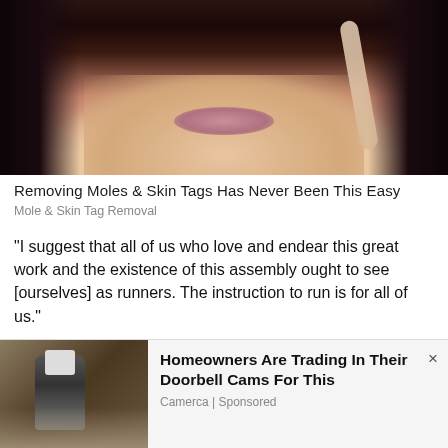[Figure (photo): Close-up photo of a woman's face (lips and lower portion), used as advertisement image for mole and skin tag removal product]
Removing Moles & Skin Tags Has Never Been This Easy
Mole & Skin Tag Removal
“I suggest that all of us who love and endear this great work and the existence of this assembly ought to see [ourselves] as runners. The instruction to run is for all of us.”
He noted that “not everyone who writes the vision will necessarily run with the vision”, but the runner must also see himself or herself as the reader.
In describing the revealers, the minister said: “They
[Figure (photo): Advertisement photo showing a wall-mounted outdoor light fixture/camera device]
Homeowners Are Trading In Their Doorbell Cams For This
Camerca | Sponsored